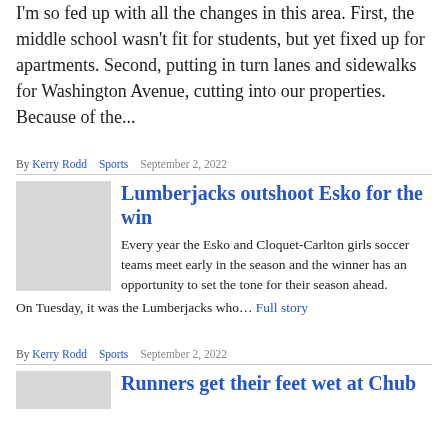I'm so fed up with all the changes in this area. First, the middle school wasn't fit for students, but yet fixed up for apartments. Second, putting in turn lanes and sidewalks for Washington Avenue, cutting into our properties. Because of the...
By Kerry Rodd   Sports   September 2, 2022
Lumberjacks outshoot Esko for the win
Every year the Esko and Cloquet-Carlton girls soccer teams meet early in the season and the winner has an opportunity to set the tone for their season ahead. On Tuesday, it was the Lumberjacks who... Full story
By Kerry Rodd   Sports   September 2, 2022
Runners get their feet wet at Chub